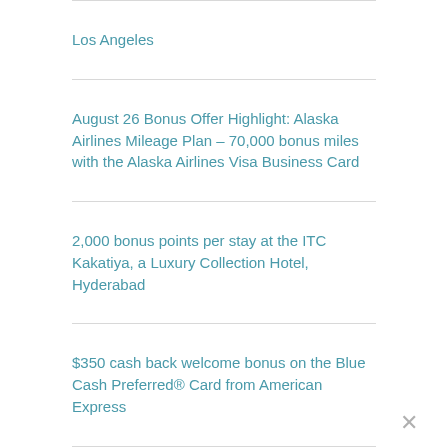Los Angeles
August 26 Bonus Offer Highlight: Alaska Airlines Mileage Plan – 70,000 bonus miles with the Alaska Airlines Visa Business Card
2,000 bonus points per stay at the ITC Kakatiya, a Luxury Collection Hotel, Hyderabad
$350 cash back welcome bonus on the Blue Cash Preferred® Card from American Express
Editorial Disclosure
Opinions, reviews, analyses & recommendations are the author's alone, and have not been reviewed, endorsed or approved by any of these entities.